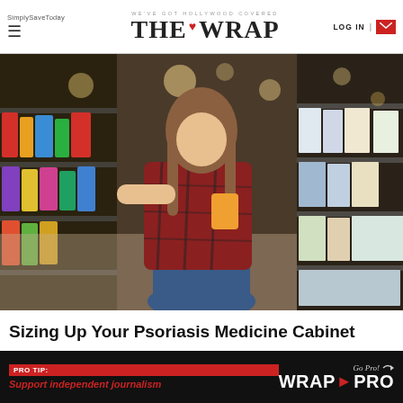SimplySaveToday | WE'VE GOT HOLLYWOOD COVERED | THE WRAP | LOG IN
[Figure (photo): Woman in plaid shirt crouching in a pharmacy/grocery store aisle, reading a product label while shopping.]
Sizing Up Your Psoriasis Medicine Cabinet
HealthCentral
PRO TIP: Support independent journalism | Go Pro! WRAP PRO